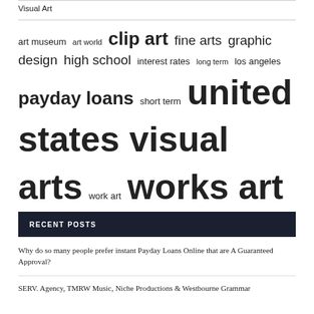Visual Art
art museum  art world  clip art  fine arts  graphic design  high school  interest rates  long term  los angeles  payday loans  short term  united states visual arts  work art  works art
RECENT POSTS
Why do so many people prefer instant Payday Loans Online that are A Guaranteed Approval?
SERV. Agency, TMRW Music, Niche Productions & Westbourne Grammar